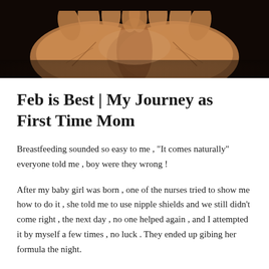[Figure (photo): Close-up photo of a person's cupped hands held together, palms up, against a dark background]
Feb is Best | My Journey as First Time Mom
Breastfeeding sounded so easy to me , “It comes naturally” everyone told me , boy were they wrong !
After my baby girl was born , one of the nurses tried to show me how to do it , she told me to use nipple shields and we still didn’t come right , the next day , no one helped again , and I attempted it by myself a few times , no luck . They ended up gibing her formula the night.
They day after I was discharged , she started screaming , I knew she was hungry and I couldn’t get her to latch , luckily